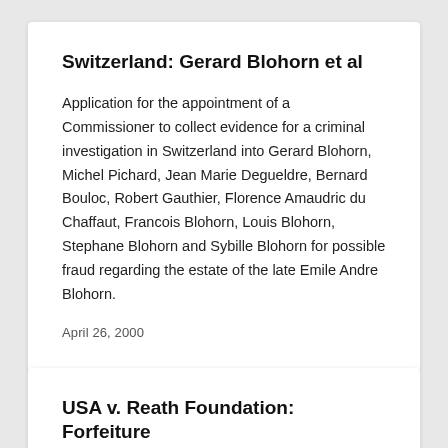Switzerland: Gerard Blohorn et al
Application for the appointment of a Commissioner to collect evidence for a criminal investigation in Switzerland into Gerard Blohorn, Michel Pichard, Jean Marie Degueldre, Bernard Bouloc, Robert Gauthier, Florence Amaudric du Chaffaut, Francois Blohorn, Louis Blohorn, Stephane Blohorn and Sybille Blohorn for possible fraud regarding the estate of the late Emile Andre Blohorn.
April 26, 2000
USA v. Reath Foundation: Forfeiture